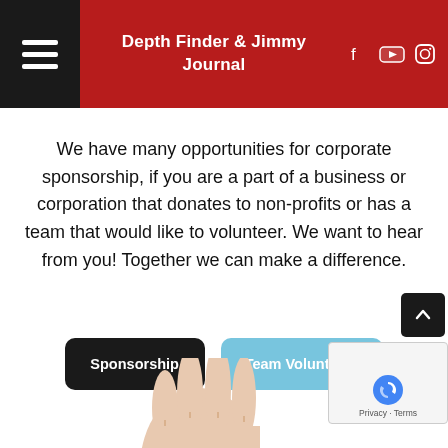Depth Finder & Jimmy Journal
We have many opportunities for corporate sponsorship, if you are a part of a business or corporation that donates to non-profits or has a team that would like to volunteer. We want to hear from you! Together we can make a difference.
Sponsorship
Team Volunteers
[Figure (other): Hand reaching up from bottom of the page]
Privacy · Terms